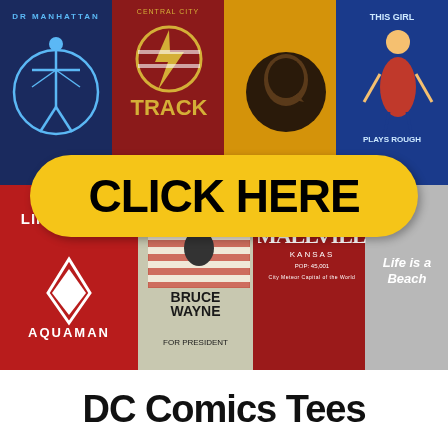[Figure (illustration): A collage of DC Comics themed t-shirts: top row shows Dr. Manhattan (navy), Central City Track (maroon), hawk/eagle logo (gold), This Girl Plays Rough/Wonder Woman (blue); bottom row shows Aquaman Lifeguard (red), Bruce Wayne for President Batman poster (gray/beige), Smallville Kansas (red), Life is a Beach (gray). A large yellow oval banner with bold black text 'CLICK HERE' overlays the middle of the image.]
DC Comics Tees